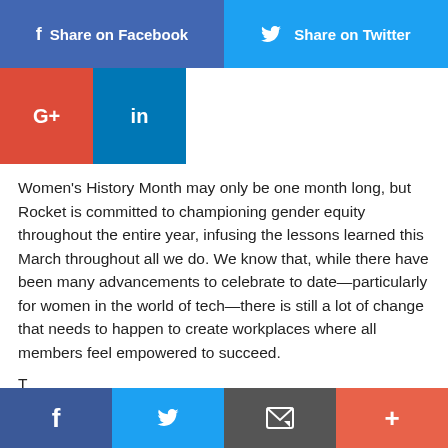[Figure (screenshot): Social share buttons: Facebook (blue), Twitter (cyan), Google+ (red), LinkedIn (dark blue)]
Women's History Month may only be one month long, but Rocket is committed to championing gender equity throughout the entire year, infusing the lessons learned this March throughout all we do. We know that, while there have been many advancements to celebrate to date—particularly for women in the world of tech—there is still a lot of change that needs to happen to create workplaces where all members feel empowered to succeed.
[Figure (screenshot): Bottom mobile share bar with Facebook, Twitter, email, and more (+) buttons]